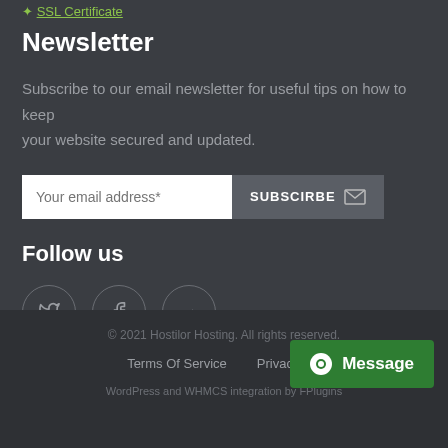SSL Certificate
Newsletter
Subscribe to our email newsletter for useful tips on how to keep your website secured and updated.
Your email address*  SUBSCIRBE
Follow us
[Figure (other): Social media icons: Twitter, Facebook, Google+]
© 2021 Hostilor Hosting. All rights reserved.
Terms Of Service   Privacy P...
WordPress and WHMCS integration by FPlugins
Message